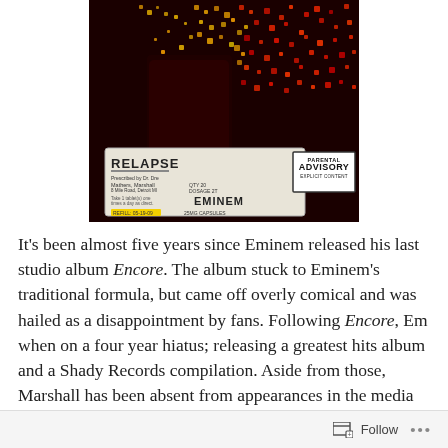[Figure (photo): Album cover of Eminem's 'Relapse' — a dark red and gold mosaic of a face with a prescription drug label overlay at the bottom left reading 'RELAPSE', 'Mathers, Marshall', 'EMINEM', '25MG CAPSULES', and a Parental Advisory Explicit Content label at bottom right.]
It's been almost five years since Eminem released his last studio album Encore. The album stuck to Eminem's traditional formula, but came off overly comical and was hailed as a disappointment by fans. Following Encore, Em when on a four year hiatus; releasing a greatest hits album and a Shady Records compilation. Aside from those, Marshall has been absent from appearances in the media
Follow ···